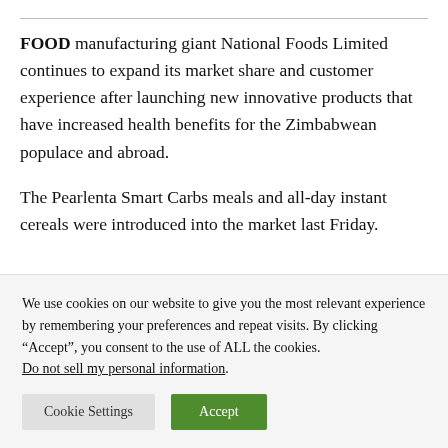FOOD manufacturing giant National Foods Limited continues to expand its market share and customer experience after launching new innovative products that have increased health benefits for the Zimbabwean populace and abroad.
The Pearlenta Smart Carbs meals and all-day instant cereals were introduced into the market last Friday.
We use cookies on our website to give you the most relevant experience by remembering your preferences and repeat visits. By clicking “Accept”, you consent to the use of ALL the cookies. Do not sell my personal information.